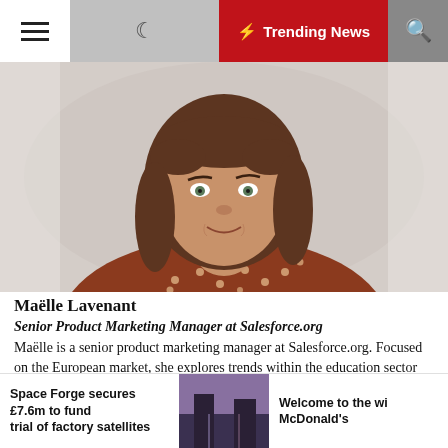⚡ Trending News
[Figure (photo): Headshot of Maëlle Lavenant, a woman with shoulder-length brown hair with bangs, wearing a rust/brown polka dot top, smiling, blurred background.]
Maëlle Lavenant
Senior Product Marketing Manager at Salesforce.org
Maëlle is a senior product marketing manager at Salesforce.org. Focused on the European market, she explores trends within the education sector and builds inspirational content to support the higher ed community on their journey to learner and institution success.
Space Forge secures £7.6m to fund trial of factory satellites
[Figure (photo): Thumbnail photo showing a building exterior at dusk/dawn with purple/pink sky reflection.]
Welcome to the wi McDonald's